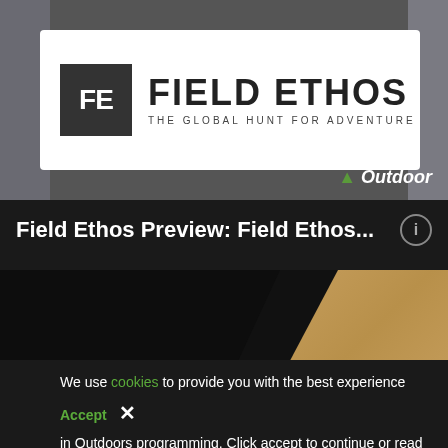[Figure (screenshot): Video thumbnail showing Field Ethos banner with FE logo box and text 'FIELD ETHOS - THE GLOBAL HUNT FOR ADVENTURE', Outdoor channel branding, two people sitting in chairs on either side]
Field Ethos Preview: Field Ethos...
[Figure (screenshot): Video thumbnail showing Guns & Ammo logo in white serif font with underline on dark background, partially overlaid with sandy/rocky terrain image on the right side]
We use cookies to provide you with the best experience in Outdoors programming. Click accept to continue or read about our Privacy Policy.